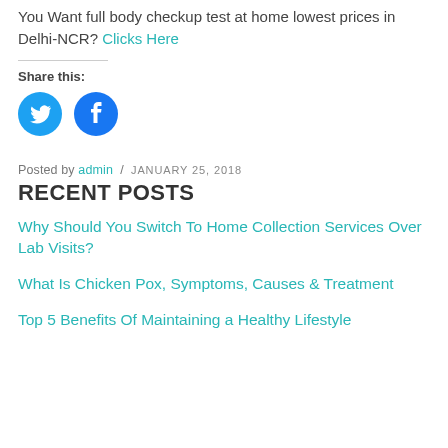You Want full body checkup test at home lowest prices in Delhi-NCR? Clicks Here
Share this:
[Figure (illustration): Twitter and Facebook social share icon buttons (blue circles with white bird and f logos)]
Posted by admin / JANUARY 25, 2018
RECENT POSTS
Why Should You Switch To Home Collection Services Over Lab Visits?
What Is Chicken Pox, Symptoms, Causes & Treatment
Top 5 Benefits Of Maintaining a Healthy Lifestyle